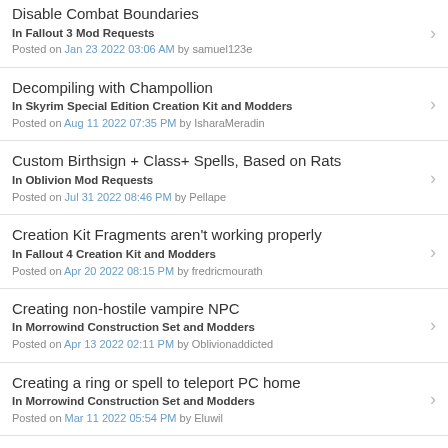Disable Combat Boundaries
In Fallout 3 Mod Requests
Posted on Jan 23 2022 03:06 AM by samuel123e
Decompiling with Champollion
In Skyrim Special Edition Creation Kit and Modders
Posted on Aug 11 2022 07:35 PM by IsharaMeradin
Custom Birthsign + Class+ Spells, Based on Rats
In Oblivion Mod Requests
Posted on Jul 31 2022 08:46 PM by Pellape
Creation Kit Fragments aren't working properly
In Fallout 4 Creation Kit and Modders
Posted on Apr 20 2022 08:15 PM by fredricmourath
Creating non-hostile vampire NPC
In Morrowind Construction Set and Modders
Posted on Apr 13 2022 02:11 PM by Oblivionaddicted
Creating a ring or spell to teleport PC home
In Morrowind Construction Set and Modders
Posted on Mar 11 2022 05:54 PM by Eluwil
Alternatives to the 'MoveTo' Command
In Oblivion Mod Talk
Posted on Jan 31 2022 10:25 PM by JustChill